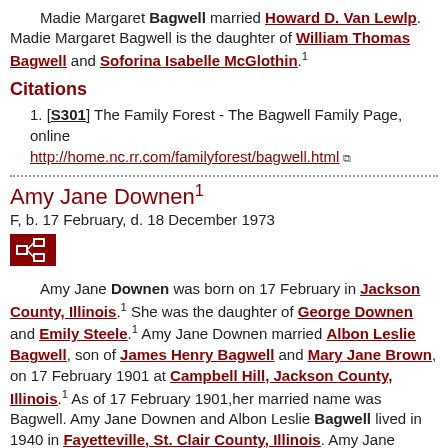Madie Margaret Bagwell married Howard D. Van Lewlp. Madie Margaret Bagwell is the daughter of William Thomas Bagwell and Soforina Isabelle McGlothin.¹
Citations
1. [S301] The Family Forest - The Bagwell Family Page, online http://home.nc.rr.com/familyforest/bagwell.html
Amy Jane Downen¹
F, b. 17 February, d. 18 December 1973
[Figure (other): Pedigree/family tree icon button]
Amy Jane Downen was born on 17 February in Jackson County, Illinois.¹ She was the daughter of George Downen and Emily Steele.¹ Amy Jane Downen married Albon Leslie Bagwell, son of James Henry Bagwell and Mary Jane Brown, on 17 February 1901 at Campbell Hill, Jackson County, Illinois.¹ As of 17 February 1901,her married name was Bagwell. Amy Jane Downen and Albon Leslie Bagwell lived in 1940 in Fayetteville, St. Clair County, Illinois. Amy Jane Downen died on 18 December 1973 in Quincy, Illinois.¹ She was buried at Sunset